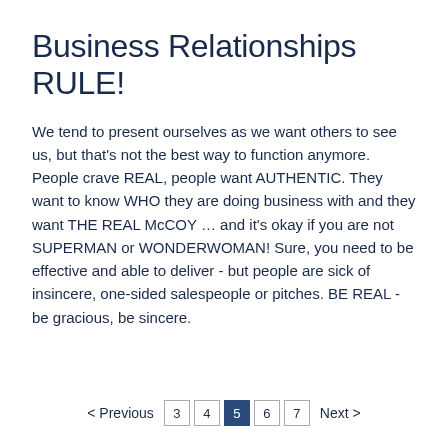Business Relationships RULE!
We tend to present ourselves as we want others to see us, but that's not the best way to function anymore. People crave REAL, people want AUTHENTIC. They want to know WHO they are doing business with and they want THE REAL McCOY … and it's okay if you are not SUPERMAN or WONDERWOMAN! Sure, you need to be effective and able to deliver - but people are sick of insincere, one-sided salespeople or pitches. BE REAL - be gracious, be sincere.
< Previous  3  4  5  6  7  Next >